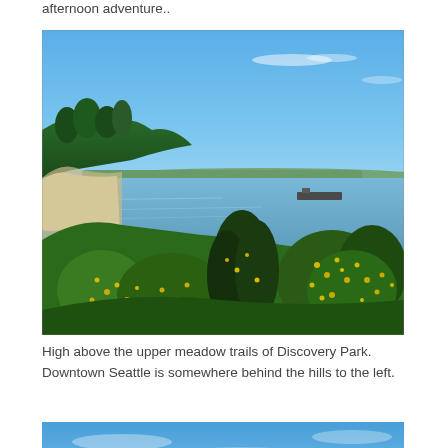afternoon adventure..
[Figure (photo): Scenic view high above the upper meadow trails of Discovery Park, Seattle. Foreground shows green shrubs and yellow flowering gorse bushes. Background shows a bay/inlet of water with a distant shoreline, a large vessel on the water, and a bright blue sky.]
High above the upper meadow trails of Discovery Park. Downtown Seattle is somewhere behind the hills to the left.
[Figure (photo): Partial view of a second photo showing blue sky, cropped at the bottom of the page.]